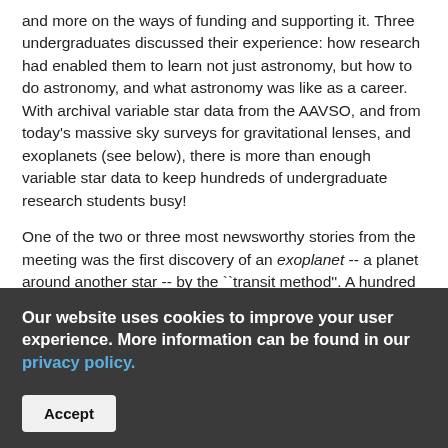and more on the ways of funding and supporting it. Three undergraduates discussed their experience: how research had enabled them to learn not just astronomy, but how to do astronomy, and what astronomy was like as a career. With archival variable star data from the AAVSO, and from today's massive sky surveys for gravitational lenses, and exoplanets (see below), there is more than enough variable star data to keep hundreds of undergraduate research students busy!
One of the two or three most newsworthy stories from the meeting was the first discovery of an exoplanet -- a planet around another star -- by the ``transit method''. A hundred exoplanets have been discovered in the last decade, in each case by observing their tiny gravitational effect on their star. The star moves in a tiny orbit, with the same period as the planet's orbit. The star moves at a speed of typically a few tens of meters a second in its orbit, and this can be
Our website uses cookies to improve your user experience. More information can be found in our privacy policy.
Accept